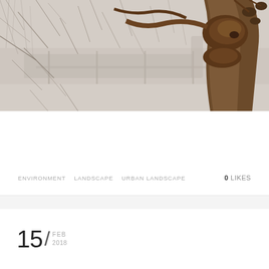[Figure (photo): Photograph of a gnarled, twisted tree trunk with knots and burls on the right side, surrounded by bare winter branches and twigs against a muted gray background with a fence visible in the distance.]
ENVIRONMENT   LANDSCAPE   URBAN LANDSCAPE        0 LIKES
15/ FEB 2018